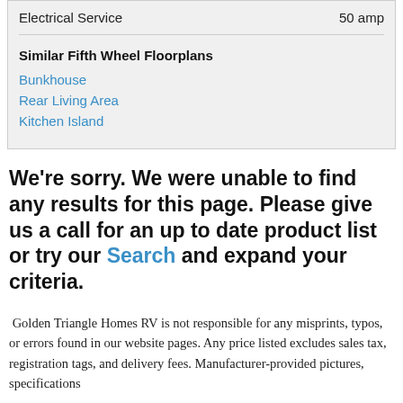|  |  |
| --- | --- |
| Electrical Service | 50 amp |
Similar Fifth Wheel Floorplans
Bunkhouse
Rear Living Area
Kitchen Island
We're sorry. We were unable to find any results for this page. Please give us a call for an up to date product list or try our Search and expand your criteria.
Golden Triangle Homes RV is not responsible for any misprints, typos, or errors found in our website pages. Any price listed excludes sales tax, registration tags, and delivery fees. Manufacturer-provided pictures, specifications